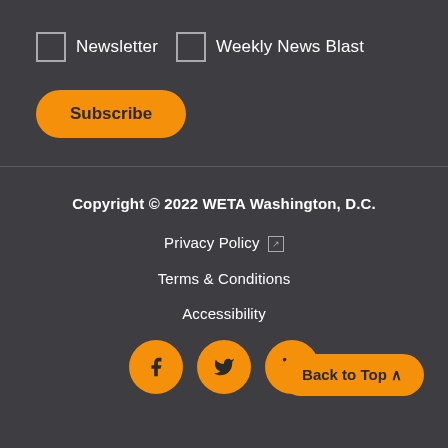Newsletter
Weekly News Blast
Subscribe
Copyright © 2022 WETA Washington, D.C.
Privacy Policy
Terms & Conditions
Accessibility
[Figure (other): Social media icons: Facebook, Twitter, LinkedIn]
Back to Top ^